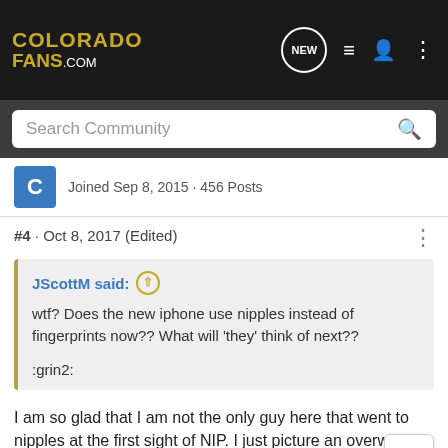ColoradoFans.com
Search Community
Joined Sep 8, 2015 · 456 Posts
#4 · Oct 8, 2017 (Edited)
JScottM said: ↑
wtf? Does the new iphone use nipples instead of fingerprints now?? What will 'they' think of next??

:grin2:
I am so glad that I am not the only guy here that went to nipples at the first sight of NIP. I just picture an overweight hairy guy(Which is me) pressing his iPhone to a nipple while looking at you seductively.